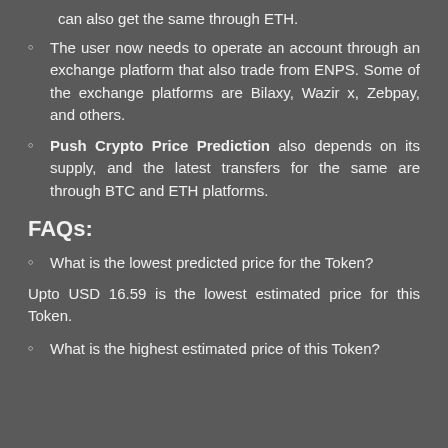can also get the same through ETH.
The user now needs to operate an account through an exchange platform that also trade from ENPS. Some of the exchange platforms are Bilaxy, Wazir x, Zebpay, and others.
Push Crypto Price Prediction also depends on its supply, and the latest transfers for the same are through BTC and ETH platforms.
FAQs:
What is the lowest predicted price for the Token?
Upto USD 16.59 is the lowest estimated price for this Token.
What is the highest estimated price of this Token?